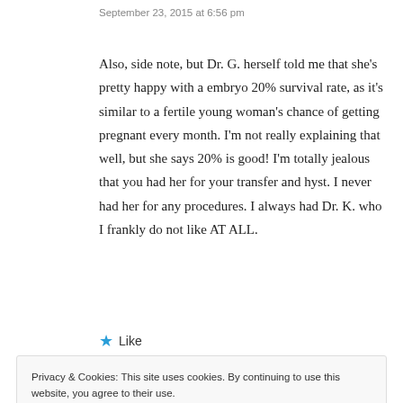September 23, 2015 at 6:56 pm
Also, side note, but Dr. G. herself told me that she's pretty happy with a embryo 20% survival rate, as it's similar to a fertile young woman's chance of getting pregnant every month. I'm not really explaining that well, but she says 20% is good! I'm totally jealous that you had her for your transfer and hyst. I never had her for any procedures. I always had Dr. K. who I frankly do not like AT ALL.
Like
Privacy & Cookies: This site uses cookies. By continuing to use this website, you agree to their use.
To find out more, including how to control cookies, see here: Cookie Policy
Close and accept
September 24, 2015 at 12:00 am